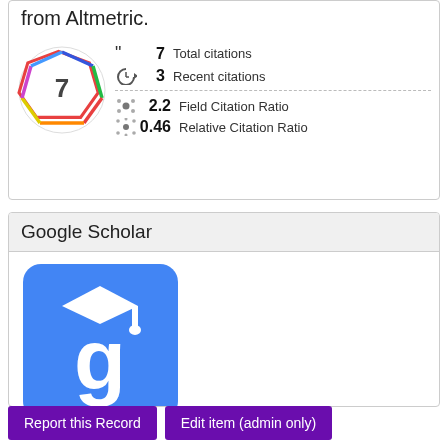from Altmetric.
[Figure (infographic): Citation badge showing number 7 in a colorful polygon shape, with citation stats: 7 Total citations, 3 Recent citations, 2.2 Field Citation Ratio, 0.46 Relative Citation Ratio]
Google Scholar
[Figure (logo): Google Scholar logo - blue rounded square with white 'g' letter and graduation cap icon]
Report this Record
Edit item (admin only)